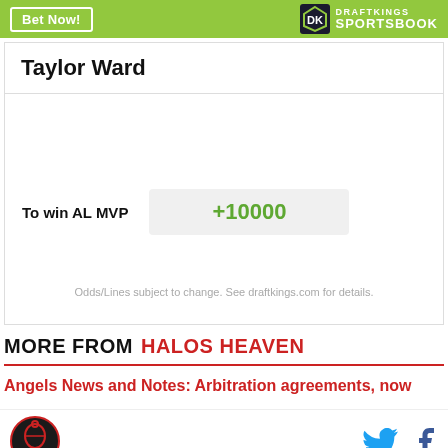[Figure (logo): DraftKings Sportsbook logo with green header bar and Bet Now button]
Taylor Ward
| Bet | Odds |
| --- | --- |
| To win AL MVP | +10000 |
Odds/Lines subject to change. See draftkings.com for details.
MORE FROM HALOS HEAVEN
Angels News and Notes: Arbitration agreements, now
[Figure (logo): Halos Heaven circular site logo (red and black)]
[Figure (other): Twitter bird icon and Facebook f icon social share buttons]